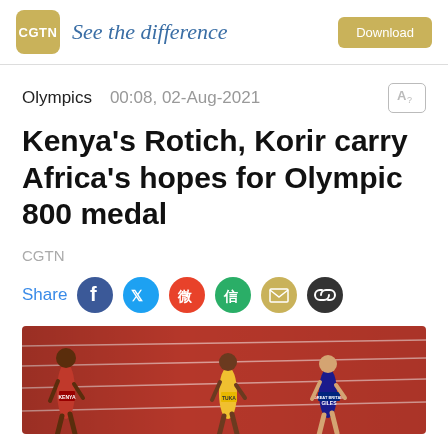CGTN  See the difference  Download
Olympics  00:08, 02-Aug-2021
Kenya's Rotich, Korir carry Africa's hopes for Olympic 800 medal
CGTN
Share
[Figure (photo): Three runners competing on a red athletics track. Left runner wears KENYA bib, center runner wears yellow kit with TUKA bib, right runner wears GREAT BRITAIN kit with GILES bib.]